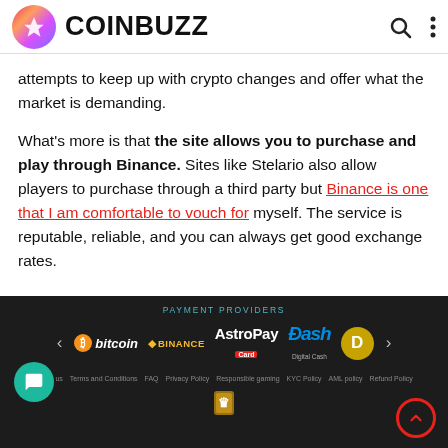COINBUZZ
attempts to keep up with crypto changes and offer what the market is demanding.
What's more is that the site allows you to purchase and play through Binance. Sites like Stelario also allow players to purchase through a third party but Binance is one that I am comfortable to vouch for myself. The service is reputable, reliable, and you can always get good exchange rates.
[Figure (screenshot): Payment providers section showing bitcoin, BINANCE, AstroPay Card, Dash Digital Cash, and a Dogecoin logo on a dark background, with footer navigation links below.]